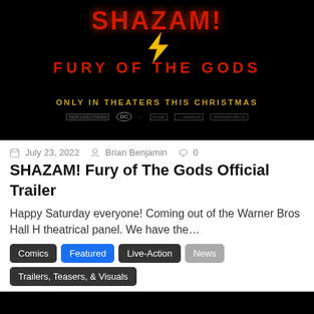[Figure (photo): Shazam! Fury of the Gods movie poster on black background with red title text, lightning bolt, golden 'ONLY IN THEATERS THIS CHRISTMAS' text, and studio logos at bottom]
July 23, 2022  Brian Benjamin  0
SHAZAM! Fury of The Gods Official Trailer
Happy Saturday everyone! Coming out of the Warner Bros Hall H theatrical panel. We have the...
Comics
Featured
Live-Action
News
Trailers, Teasers, & Visuals
[Figure (screenshot): Black video thumbnail/embed area with red and gray navigation dots at bottom]